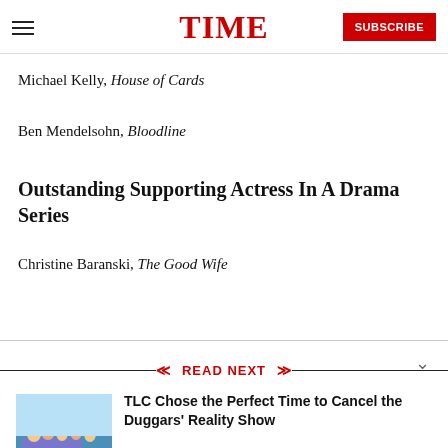TIME | SUBSCRIBE
Michael Kelly, House of Cards
Ben Mendelsohn, Bloodline
Outstanding Supporting Actress In A Drama Series
Christine Baranski, The Good Wife
READ NEXT
TLC Chose the Perfect Time to Cancel the Duggars' Reality Show